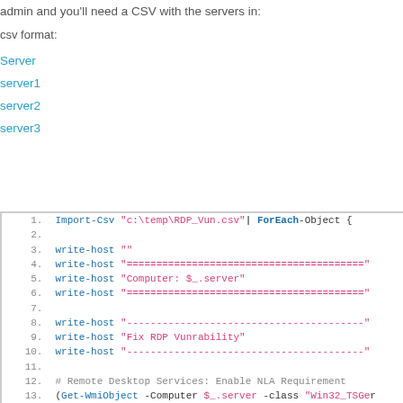admin and you'll need a CSV with the servers in:
csv format:
| Server |
| --- |
| server1 |
| server2 |
| server3 |
1.  Import-Csv "c:\temp\RDP_Vun.csv"| ForEach-Object {
2.
3.  write-host ""
4.  write-host "======================================"
5.  write-host "Computer: $_.server"
6.  write-host "======================================"
7.
8.  write-host "--------------------------------------"
9.  write-host "Fix RDP Vunrability"
10. write-host "--------------------------------------"
11.
12. # Remote Desktop Services: Enable NLA Requirement
13. (Get-WmiObject -Computer $_.server -class "Win32_TSGe... Namespace root\cimv2\terminalservices -Filter "Termina... tcp'").UserAuthenticationRequired
14. (Get-WmiObject -Computer $_.server -class "Win32_TSGe...